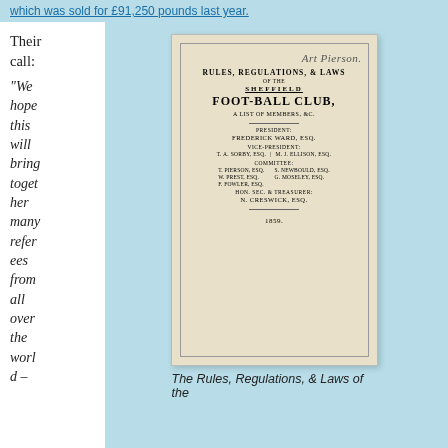which was sold for £91,250 pounds last year.
Their call:
“We hope this will bring together many referees from all over the world –
[Figure (photo): A photograph of the cover of the 1859 Rules, Regulations, & Laws of the Sheffield Foot-Ball Club booklet, with handwritten text 'Art Pierson' at the top. The booklet lists President: Frederick Ward, Esq., Vice-Presidents: T.A. Sorby, Esq. and M.J. Ellison, Esq., Committee members: T. Pierson, W. Prest, F. Fowler, S. Newbould, G. Moseley Esqs., Hon. Sec. & Treasurer: N. Creswick, Esq., dated 1859.]
The Rules, Regulations, & Laws of the